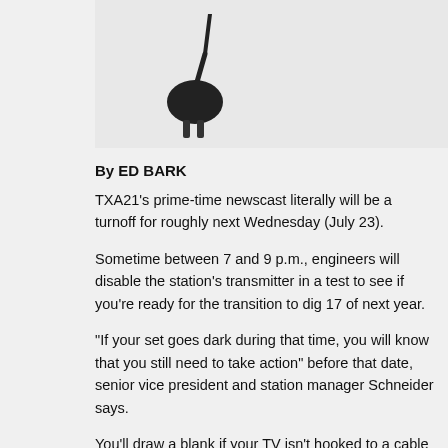[Figure (photo): Partial image of a black electrical plug/power cord against a light background, cropped at top of page]
By ED BARK
TXA21's prime-time newscast literally will be a turnoff for roughly next Wednesday (July 23).
Sometime between 7 and 9 p.m., engineers will disable the station's transmitter in a test to see if you're ready for the transition to dig 17 of next year.
"If your set goes dark during that time, you will know that you still need to take action" before that date, senior vice president and station manager Schneider says.
You'll draw a blank if your TV isn't hooked to a cable or satellite service and you don't have one of those supposedly discounted digital converter stations across the country have been flogging.